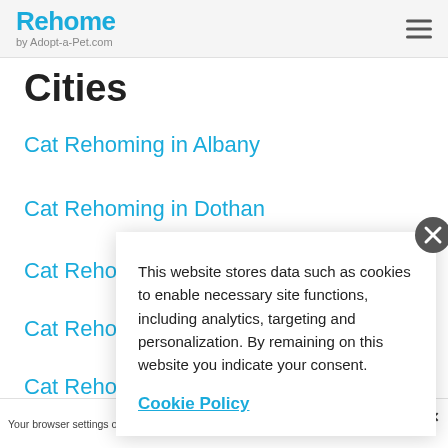Rehome by Adopt-a-Pet.com
Cities
Cat Rehoming in Albany
Cat Rehoming in Dothan
Cat Reho...
Cat Reho...
Cat Reho...
Cat Reho...
This website stores data such as cookies to enable necessary site functions, including analytics, targeting and personalization. By remaining on this website you indicate your consent.
Cookie Policy
Your browser settings o... AdRoll to use cross-site... by clicking here. This m...